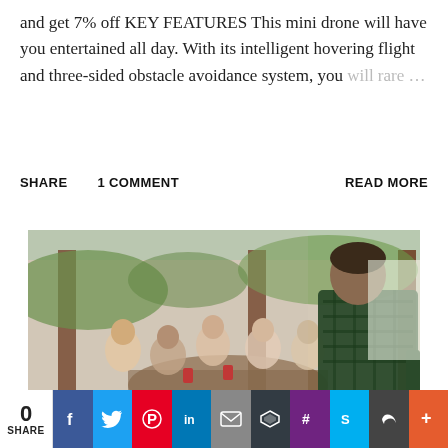and get 7% off KEY FEATURES This mini drone will have you entertained all day. With its intelligent hovering flight and three-sided obstacle avoidance system, you will rare ...
SHARE   1 COMMENT   READ MORE
[Figure (photo): A man in a plaid shirt stands with his back to the camera, facing a group of people seated at a round outdoor table in what appears to be a restaurant patio setting.]
0 SHARE  [social sharing icons: Facebook, Twitter, Pinterest, LinkedIn, Email, Buffer, Slack, Skype, Chain, Plus]